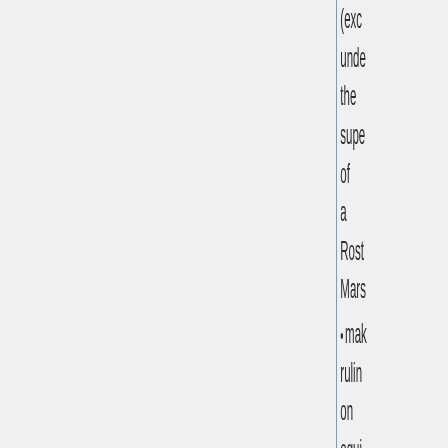(exc under the supe of a Rost Mars
mak rulin on equi revo auth or act in any mars capa